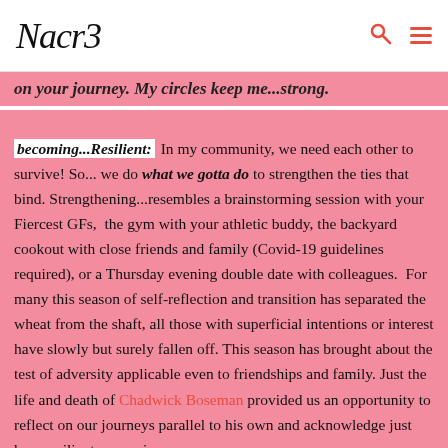Nacr3
on your journey. My circles keep me...strong.
becoming...Resilient: In my community, we need each other to survive! So... we do what we gotta do to strengthen the ties that bind. Strengthening...resembles a brainstorming session with your Fiercest GFs,  the gym with your athletic buddy, the backyard cookout with close friends and family (Covid-19 guidelines required), or a Thursday evening double date with colleagues.  For many this season of self-reflection and transition has separated the wheat from the shaft, all those with superficial intentions or interest have slowly but surely fallen off. This season has brought about the test of adversity applicable even to friendships and family. Just the life and death of Chadwick Boseman provided us an opportunity to reflect on our journeys parallel to his own and acknowledge just how resilient we are in